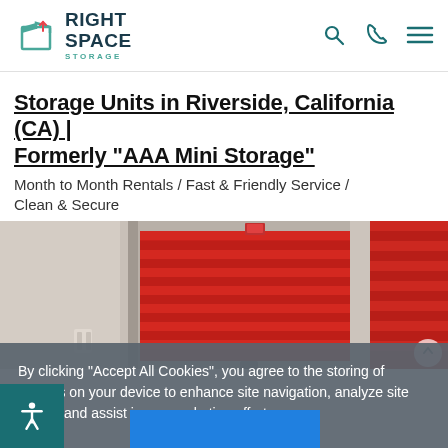Right Space Storage — navigation header with logo and icons
Storage Units in Riverside, California (CA) | Formerly "AAA Mini Storage"
Month to Month Rentals / Fast & Friendly Service / Clean & Secure
[Figure (photo): Interior photo of a storage facility showing red roll-up storage unit doors along a white corridor]
By clicking "Accept All Cookies", you agree to the storing of cookies on your device to enhance site navigation, analyze site usage, and assist in our marketing efforts.